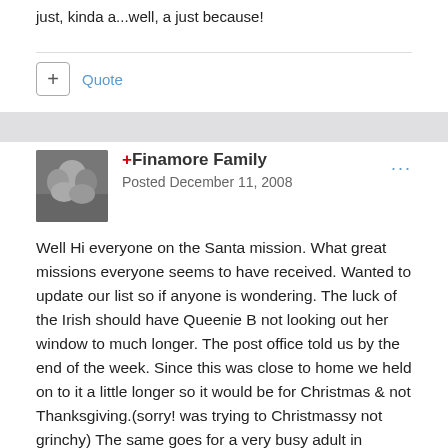just, kinda a...well, a just because!
Quote
+Finamore Family
Posted December 11, 2008
Well Hi everyone on the Santa mission. What great missions everyone seems to have received. Wanted to update our list so if anyone is wondering. The luck of the Irish should have Queenie B not looking out her window to much longer. The post office told us by the end of the week. Since this was close to home we held on to it a little longer so it would be for Christmas & not Thanksgiving.(sorry! was trying to Christmassy not grinchy) The same goes for a very busy adult in Canada. We have received all of our missions & they have been fantastic. I was holding off writing on them because we did some detective work on two & sent them an email so we could announce how wonderful their missions were. They were not sent out with names or cards just towns. So either our detective work was wrong or they want to play Secret Santa & keep it